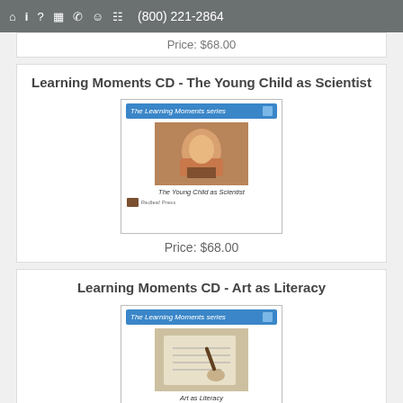(800) 221-2864
Price: $68.00
Learning Moments CD - The Young Child as Scientist
[Figure (photo): Product cover image for 'The Young Child as Scientist' from The Learning Moments series, showing a child engaged in a science activity]
Price: $68.00
Learning Moments CD - Art as Literacy
[Figure (photo): Product cover image for 'Art as Literacy' from The Learning Moments series, showing a hand writing or drawing]
Price: $68.00